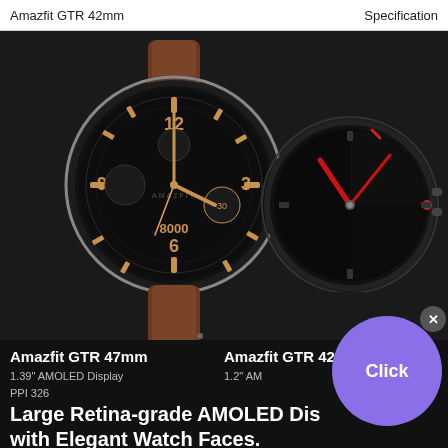Amazfit GTR 42mm    Specification
[Figure (photo): Two Amazfit GTR smartwatches side by side on dark background. Left watch is 47mm with brown leather strap and gold chronograph face showing 12, 9, 6, 3 markers and '8000' subdial. Right watch is 42mm with black strap and red hands on dark face.]
Amazfit GTR 47mm
1.39" AMOLED Display
PPI 326
Amazfit GTR 42mm
1.2" AM…
Large Retina-grade AMOLED Dis… with Elegant Watch Faces.